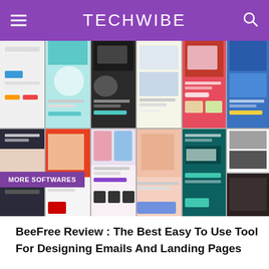TECHWIBE
[Figure (screenshot): Collage of BeeFree email and landing page templates shown as a grid of colorful mobile-style template previews. A purple 'MORE SOFTWARES' badge overlays the bottom-left corner.]
BeeFree Review : The Best Easy To Use Tool For Designing Emails And Landing Pages